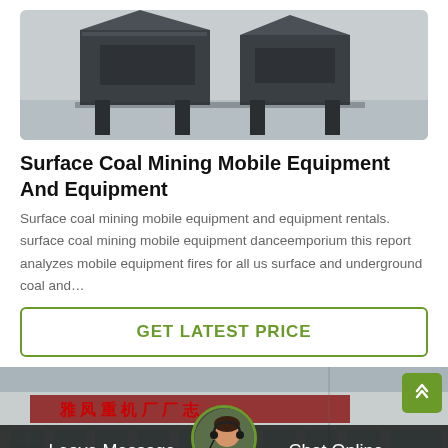[Figure (photo): Industrial mining/screening equipment (dark metal machinery) in a factory or warehouse setting with grey floor.]
Surface Coal Mining Mobile Equipment And Equipment
Surface coal mining mobile equipment and equipment rentals. surface coal mining mobile equipment danceemporium this report analyzes mobile equipment fires for all us surface and underground coal and…
GET LATEST PRICE
[Figure (photo): Exterior of a Chinese factory building with Chinese characters on the facade, white-framed windows.]
Leave Message
Chat Online